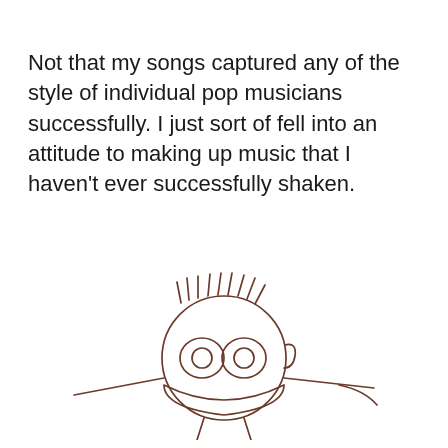Not that my songs captured any of the style of individual pop musicians successfully. I just sort of fell into an attitude to making up music that I haven't ever successfully shaken.
[Figure (illustration): A simple child-like pencil drawing of a round cartoon face with large oval eyes, short spiky hair lines on top, small ears on the sides, a wide flat mouth/chin area, and two lines at the bottom suggesting a body or legs. Lines extend outward from the sides of the face like arms or wings.]